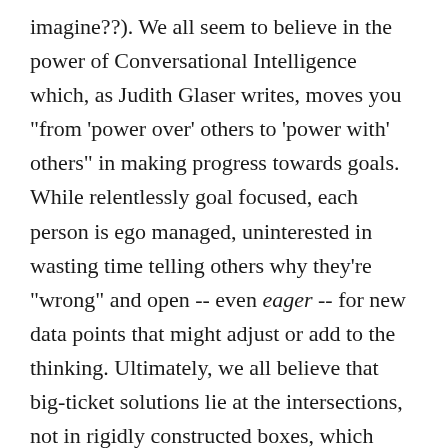imagine??). We all seem to believe in the power of Conversational Intelligence which, as Judith Glaser writes, moves you "from 'power over' others to 'power with' others" in making progress towards goals. While relentlessly goal focused, each person is ego managed, uninterested in wasting time telling others why they're "wrong" and open -- even eager -- for new data points that might adjust or add to the thinking. Ultimately, we all believe that big-ticket solutions lie at the intersections, not in rigidly constructed boxes, which means effective collaboration is critical to success. For the first time ever, I feel excited and hopeful (yes, hopeful) about the possibilities for progress, instead of depressed by inertia.